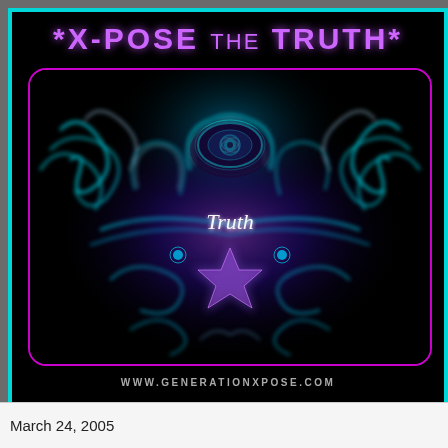*X-POSE THE TRUTH*
[Figure (illustration): Dark psychedelic artwork with glowing cyan/blue smoke patterns forming a symmetrical creature-like figure, with a glowing eye at the top center, the word 'Truth' in cursive script, and swirling neon blue and purple smoke tendrils. Pink rounded-corner border surrounds the inner image. Website URL at bottom: www.generationxpose.com]
March 24, 2005